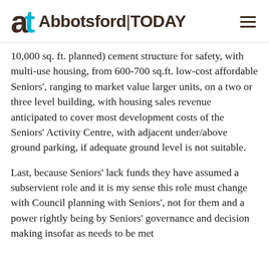Abbotsford TODAY
10,000 sq. ft. planned) cement structure for safety, with multi-use housing, from 600-700 sq.ft. low-cost affordable Seniors', ranging to market value larger units, on a two or three level building, with housing sales revenue anticipated to cover most development costs of the Seniors' Activity Centre, with adjacent under/above ground parking, if adequate ground level is not suitable.
Last, because Seniors' lack funds they have assumed a subservient role and it is my sense this role must change with Council planning with Seniors', not for them and a power rightly being by Seniors' governance and decision making insofar as needs to be met